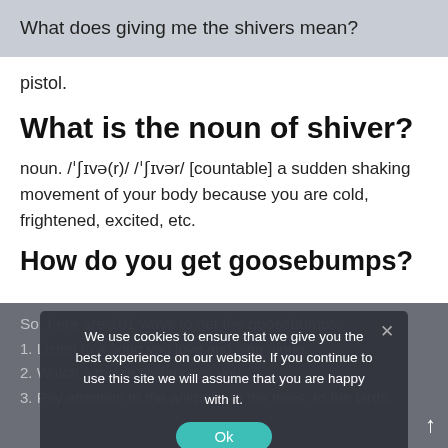What does giving me the shivers mean?
pistol.
What is the noun of shiver?
noun. /ˈʃɪvə(r)/ /ˈʃɪvər/ [countable] a sudden shaking movement of your body because you are cold, frightened, excited, etc.
How do you get goosebumps?
So, here are 101 ways to get the goosebumps.
1. Listen to a song you love and sing along.
2. Watch a movie that moves you.
3. Pay attention to the animals, to the trees, to the birds.
We use cookies to ensure that we give you the best experience on our website. If you continue to use this site we will assume that you are happy with it.